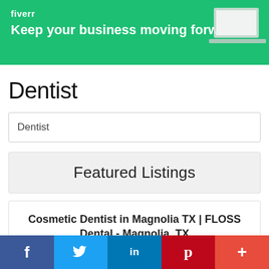[Figure (infographic): Fiverr advertisement banner with green background, logo 'fiverr', tagline 'Keep your business moving forward', and a laptop image on the right side]
Dentist
Dentist
Featured Listings
Cosmetic Dentist in Magnolia TX | FLOSS Dental - Magnolia, TX
Magnolia, TX
[Figure (infographic): Social media sharing bar with icons for Facebook (f), Twitter (bird), LinkedIn (in), Pinterest (P), and More (+)]